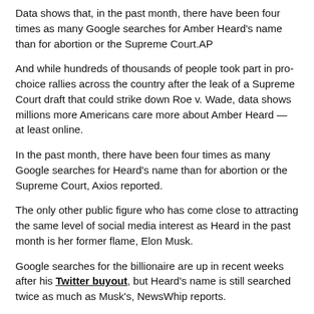Data shows that, in the past month, there have been four times as many Google searches for Amber Heard's name than for abortion or the Supreme Court.AP
And while hundreds of thousands of people took part in pro-choice rallies across the country after the leak of a Supreme Court draft that could strike down Roe v. Wade, data shows millions more Americans care more about Amber Heard — at least online.
In the past month, there have been four times as many Google searches for Heard's name than for abortion or the Supreme Court, Axios reported.
The only other public figure who has come close to attracting the same level of social media interest as Heard in the past month is her former flame, Elon Musk.
Google searches for the billionaire are up in recent weeks after his Twitter buyout, but Heard's name is still searched twice as much as Musk's, NewsWhip reports.